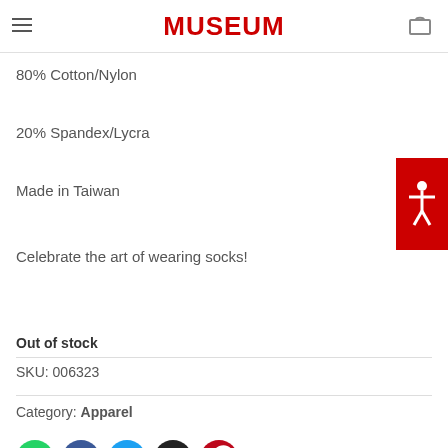MUSEUM
80% Cotton/Nylon
20% Spandex/Lycra
Made in Taiwan
Celebrate the art of wearing socks!
Out of stock
SKU: 006323
Category: Apparel
[Figure (other): Social sharing icons: WhatsApp (green), Facebook (blue), Twitter (light blue), Email (black), Pinterest (red)]